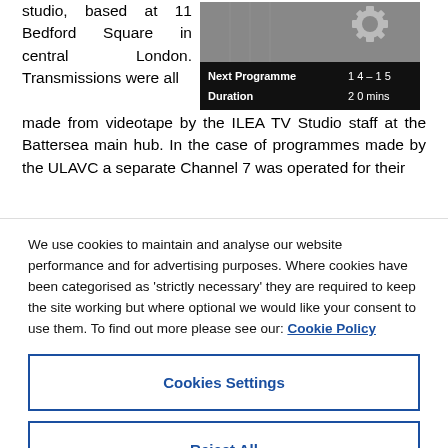studio, based at 11 Bedford Square in central London. Transmissions were all made from videotape by the ILEA TV Studio staff at the Battersea main hub. In the case of programmes made by the ULAVC a separate Channel 7 was operated for their
[Figure (screenshot): TV screen showing programme information overlay: 'Next Programme 14-15' and 'Duration 20 mins' on a dark background with a gear/cog icon visible at top]
We use cookies to maintain and analyse our website performance and for advertising purposes. Where cookies have been categorised as 'strictly necessary' they are required to keep the site working but where optional we would like your consent to use them. To find out more please see our: Cookie Policy
Cookies Settings
Reject All
Accept All Cookies